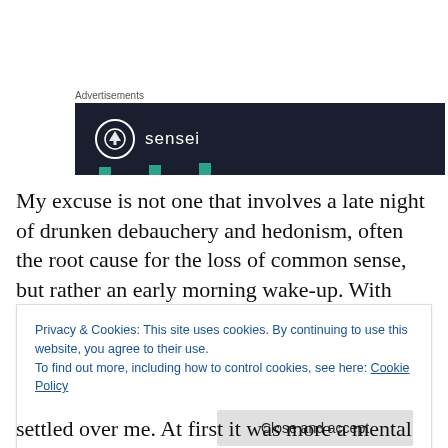Advertisements
[Figure (logo): Sensei brand advertisement banner — dark navy background with white circle icon containing a tree symbol and the text 'sensei' in white letters. Bottom of banner shows teal/green decorative tick marks.]
My excuse is not one that involves a late night of drunken debauchery and hedonism, often the root cause for the loss of common sense, but rather an early morning wake-up. With blurry eyes and a mind still dreaming I wandered
Privacy & Cookies: This site uses cookies. By continuing to use this website, you agree to their use.
To find out more, including how to control cookies, see here: Cookie Policy
Close and accept
settled over me. At first it was more a mental itch but that